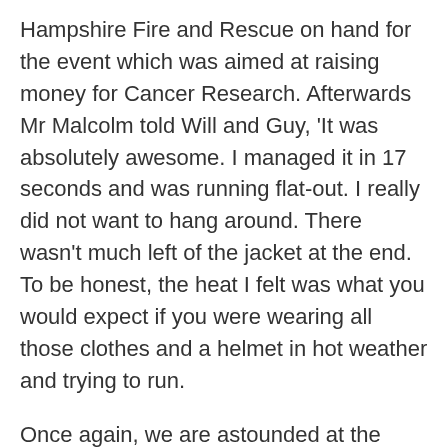Hampshire Fire and Rescue on hand for the event which was aimed at raising money for Cancer Research. Afterwards Mr Malcolm told Will and Guy, 'It was absolutely awesome. I managed it in 17 seconds and was running flat-out. I really did not want to hang around. There wasn't much left of the jacket at the end. To be honest, the heat I felt was what you would expect if you were wearing all those clothes and a helmet in hot weather and trying to run.

Once again, we are astounded at the eccentricity and quirkiness of our